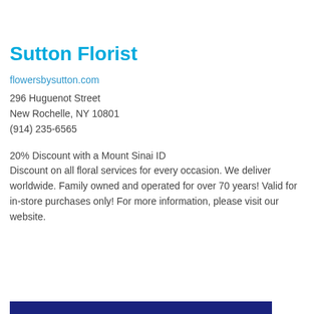Sutton Florist
flowersbysutton.com
296 Huguenot Street
New Rochelle, NY 10801
(914) 235-6565
20% Discount with a Mount Sinai ID
Discount on all floral services for every occasion. We deliver worldwide. Family owned and operated for over 70 years! Valid for in-store purchases only! For more information, please visit our website.